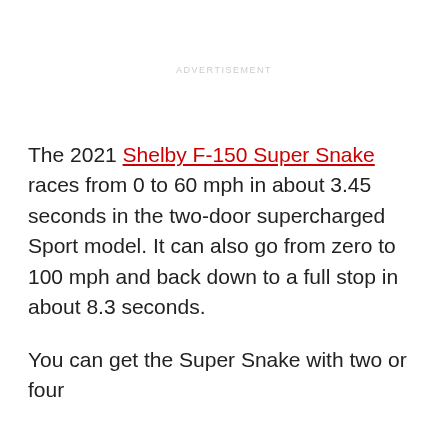ADVERTISEMENT
The 2021 Shelby F-150 Super Snake races from 0 to 60 mph in about 3.45 seconds in the two-door supercharged Sport model. It can also go from zero to 100 mph and back down to a full stop in about 8.3 seconds.
You can get the Super Snake with two or four